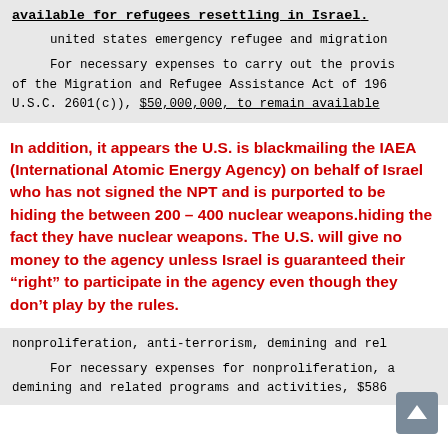available for refugees resettling in Israel.
united states emergency refugee and migration
For necessary expenses to carry out the provisions of the Migration and Refugee Assistance Act of 196 U.S.C. 2601(c)), $50,000,000, to remain available
In addition, it appears the U.S. is blackmailing the IAEA (International Atomic Energy Agency) on behalf of Israel who has not signed the NPT and is purported to be hiding the between 200 – 400 nuclear weapons.hiding the fact they have nuclear weapons. The U.S. will give no money to the agency unless Israel is guaranteed their “right” to participate in the agency even though they don’t play by the rules.
nonproliferation, anti-terrorism, demining and related
For necessary expenses for nonproliferation, a demining and related programs and activities, $586